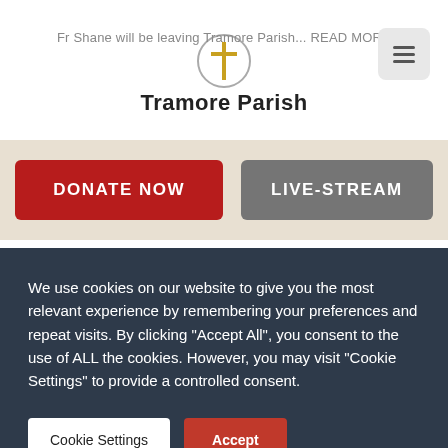Fr Shane will be leaving Tramore Parish... READ MORE
[Figure (logo): Tramore Parish logo with cross icon and text 'Tramore Parish']
DONATE NOW
LIVE-STREAM
RECENT PARISH NEWSLETTERS
We use cookies on our website to give you the most relevant experience by remembering your preferences and repeat visits. By clicking "Accept All", you consent to the use of ALL the cookies. However, you may visit "Cookie Settings" to provide a controlled consent.
Cookie Settings
Accept